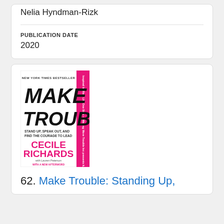Nelia Hyndman-Rizk
PUBLICATION DATE
2020
[Figure (photo): Book cover of 'Make Trouble: Stand Up, Speak Out, and Find the Courage to Lead' by Cecile Richards with Lauren Peterson. New York Times Bestseller. Cover features bold black brush-script title on white background with pink spine and pink author name.]
62. Make Trouble: Standing Up,